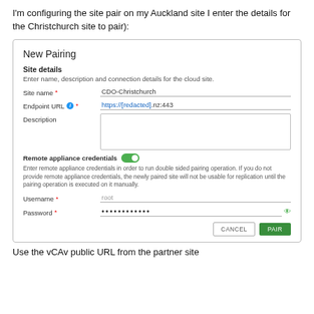I'm configuring the site pair on my Auckland site I enter the details for the Christchurch site to pair):
[Figure (screenshot): New Pairing dialog screenshot showing Site details section with fields: Site name (CDO-Christchurch), Endpoint URL (https://[redacted].nz:443), Description (empty textarea), Remote appliance credentials toggle (on/green), credentials description text, Username (root), Password (dots), Cancel and Pair buttons.]
Use the vCAv public URL from the partner site